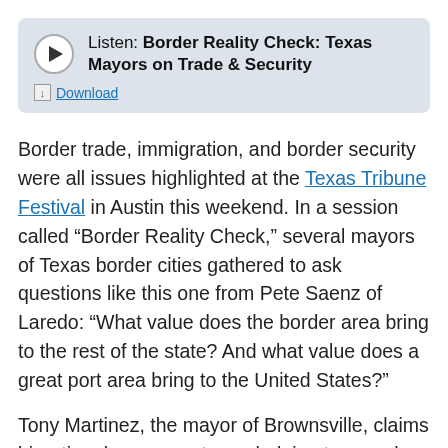[Figure (other): Audio player widget with play button and title 'Listen: Border Reality Check: Texas Mayors on Trade & Security' and a Download link, on a light blue-gray background]
Border trade, immigration, and border security were all issues highlighted at the Texas Tribune Festival in Austin this weekend. In a session called “Border Reality Check,” several mayors of Texas border cities gathered to ask questions like this one from Pete Saenz of Laredo: “What value does the border area bring to the rest of the state? And what value does a great port area bring to the United States?”
Tony Martinez, the mayor of Brownsville, claims bi-national agreements are helping to speed up commercial border crossings and open up trade. “You can’t let borders get in the way of progress,”